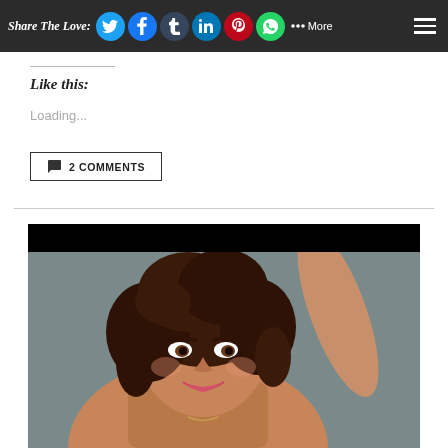Share The Love:
Like this:
Loading...
2 COMMENTS
[Figure (photo): Portrait photo of a smiling woman with curly dark hair, arm raised above her head, against a gray background, with black bar at top of image]